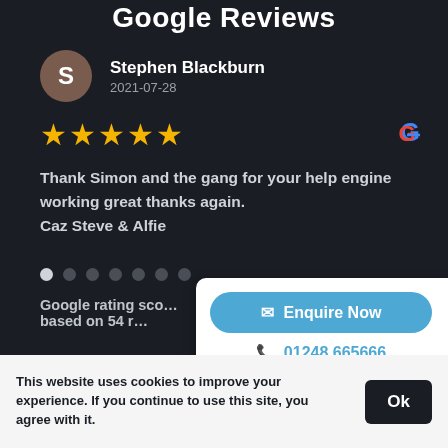Google Reviews
Stephen Blackburn
2021-07-28
★★★★★
Thank Simon and the gang for your help engine working great thanks again. Caz Steve & Alfie
Google rating sco...
based on 54 r...
Enquire Now
01248 665666
This website uses cookies to improve your experience. If you continue to use this site, you agree with it.